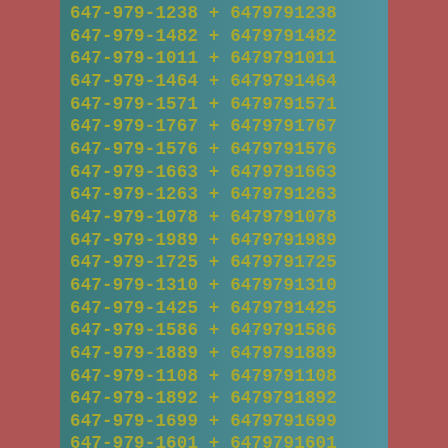647-979-1238 + 6479791238
647-979-1482 + 6479791482
647-979-1011 + 6479791011
647-979-1464 + 6479791464
647-979-1571 + 6479791571
647-979-1767 + 6479791767
647-979-1576 + 6479791576
647-979-1663 + 6479791663
647-979-1263 + 6479791263
647-979-1078 + 6479791078
647-979-1989 + 6479791989
647-979-1725 + 6479791725
647-979-1310 + 6479791310
647-979-1425 + 6479791425
647-979-1586 + 6479791586
647-979-1889 + 6479791889
647-979-1108 + 6479791108
647-979-1892 + 6479791892
647-979-1699 + 6479791699
647-979-1601 + 6479791601
647-979-1012 + 6479791012
647-979-1991 + 6479791991
647-979-1542 + 6479791542